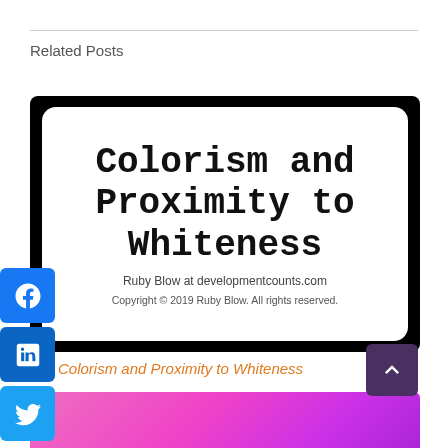Related Posts
[Figure (illustration): Black-framed card with white rounded inner panel showing 'Colorism and Proximity to Whiteness' in monospace bold font, attributed to Ruby Blow at developmentcounts.com with a copyright notice.]
Colorism and Proximity to Whiteness
[Figure (illustration): Pink/magenta gradient card showing partial text 'Eat the ice cream' in bold dark italic font at the bottom.]